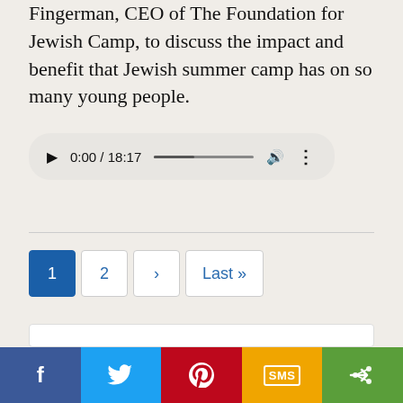Fingerman, CEO of The Foundation for Jewish Camp, to discuss the impact and benefit that Jewish summer camp has on so many young people.
[Figure (screenshot): Audio player widget showing 0:00 / 18:17 with play button, progress bar, volume icon, and more options icon on a light gray rounded background.]
[Figure (screenshot): Pagination controls showing page 1 (active, blue), page 2, next arrow, and Last » buttons.]
Site
[Figure (screenshot): Social sharing bar with Facebook (blue), Twitter (light blue), Pinterest (red), SMS (yellow), and share (green) buttons.]